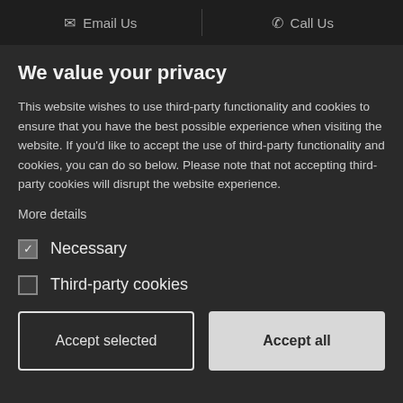✉ Email Us  |  ✆ Call Us
We value your privacy
This website wishes to use third-party functionality and cookies to ensure that you have the best possible experience when visiting the website. If you'd like to accept the use of third-party functionality and cookies, you can do so below. Please note that not accepting third-party cookies will disrupt the website experience.
More details
☑ Necessary
☐ Third-party cookies
Accept selected  |  Accept all